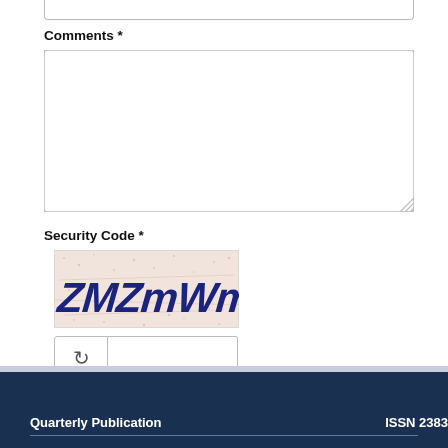Comments *
[Figure (screenshot): Large text input textarea for comments field]
Security Code *
[Figure (screenshot): CAPTCHA image showing distorted text 'ZMZmWm' in dark blue on a noisy pink/beige background]
[Figure (screenshot): Refresh button with circular arrow icon and text input field for entering security code]
[Figure (screenshot): Send Comment button in blue with checkmark icon]
Quarterly Publication    ISSN 2383